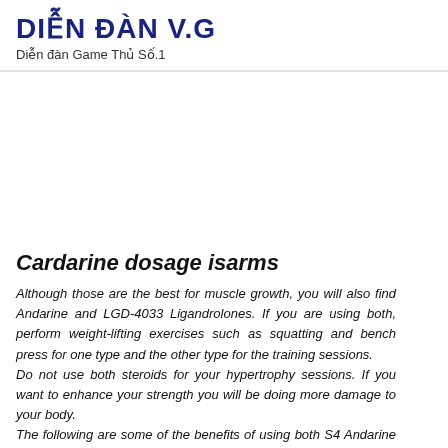DIỄN ĐÀN V.G
Diễn đàn Game Thủ Số.1
Cardarine dosage isarms
Although those are the best for muscle growth, you will also find Andarine and LGD-4033 Ligandrolones. If you are using both, perform weight-lifting exercises such as squatting and bench press for one type and the other type for the training sessions.
Do not use both steroids for your hypertrophy sessions. If you want to enhance your strength you will be doing more damage to your body.
The following are some of the benefits of using both S4 Andarine and LGD.
Increase the volume and intensity of endurance training for you, and